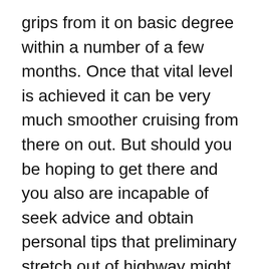grips from it on basic degree within a number of a few months. Once that vital level is achieved it can be very much smoother cruising from there on out. But should you be hoping to get there and you also are incapable of seek advice and obtain personal tips that preliminary stretch out of highway might take a long time to cover, which is where most of those that are unsuccessful fall short.
The next varied that underpins excellent words colleges capability to instruct Mandarin is that they will not only try and educate the words (have with me). Understanding is ultimately